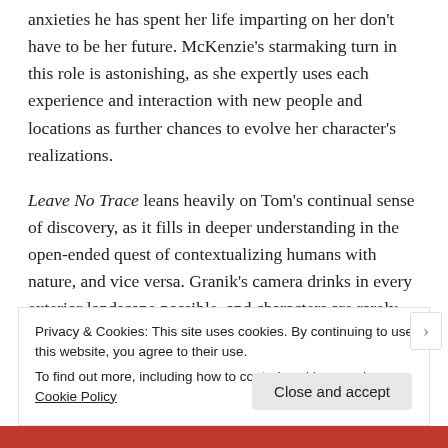anxieties he has spent her life imparting on her don't have to be her future. McKenzie's starmaking turn in this role is astonishing, as she expertly uses each experience and interaction with new people and locations as further chances to evolve her character's realizations.
Leave No Trace leans heavily on Tom's continual sense of discovery, as it fills in deeper understanding in the open-ended quest of contextualizing humans with nature, and vice versa. Granik's camera drinks in every exterior landscape possible, and characters are rarely
Privacy & Cookies: This site uses cookies. By continuing to use this website, you agree to their use.
To find out more, including how to control cookies, see here: Cookie Policy
Close and accept